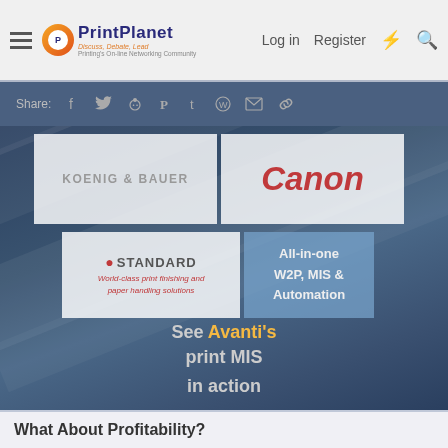PrintPlanet – Discuss, Debate, Lead – Printing's On-line Networking Community | Log in | Register
[Figure (screenshot): Share bar with social media icons: Facebook, Twitter, Reddit, Pinterest, Tumblr, WhatsApp, Email, Link]
[Figure (infographic): Banner area with four advertisement tiles: Koenig & Bauer, Canon, Standard (World-class print finishing and paper handling solutions), All-in-one W2P, MIS & Automation. Overlaid text: See Avanti's print MIS in action]
What About Profitability?